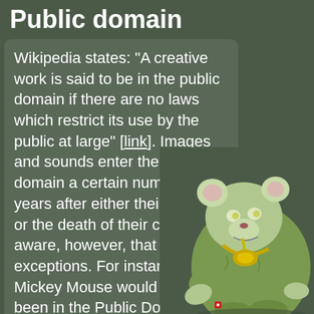Public domain
Wikipedia states: “A creative work is said to be in the public domain if there are no laws which restrict its use by the public at large” [link]. Images and sounds enter the public domain a certain number of years after either their creation or the death of their creator. Be aware, however, that there are exceptions. For instance: Mickey Mouse would have been in the Public Domain by now had his release not been
[Figure (illustration): Cartoon illustration of a large green zombie-like mouse/rat character wearing a gold chain, sitting in a slouched position]